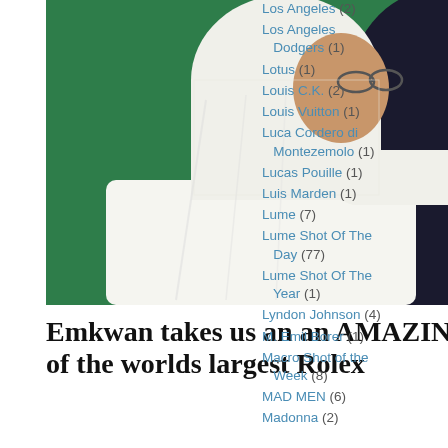[Figure (photo): A man wearing traditional white Arab dress (thobe and keffiyeh) embracing another person dressed in dark clothing, photographed from the side against a green background.]
Emkwan takes us an an AMAZING tour of the worlds largest Rolex
Los Angeles (2)
Los Angeles Dodgers (1)
Lotus (1)
Louis C.K. (2)
Louis Vuitton (1)
Luca Cordero di Montezemolo (1)
Lucas Pouille (1)
Luis Marden (1)
Lume (7)
Lume Shot Of The Day (77)
Lume Shot Of The Year (1)
Lyndon Johnson (4)
M. Emil Borer (1)
Macro Shot of the Week (8)
MAD MEN (6)
Madonna (2)